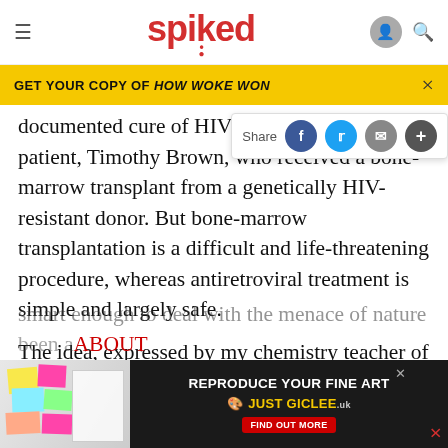spiked
GET YOUR COPY OF HOW WOKE WON
documented cure of HIV before the Berlin patient, Timothy Brown, who received a bone-marrow transplant from a genetically HIV-resistant donor. But bone-marrow transplantation is a difficult and life-threatening procedure, whereas antiretroviral treatment is simple and largely safe.
The idea, expressed by my chemistry teacher of old, that AIDS will strike us down because we are not smart enough to deal with the menace of nature has been a...
[Figure (screenshot): Bottom advertisement banner for 'REPRODUCE YOUR FINE ART - JUST GICLEE' with a Find Out More button]